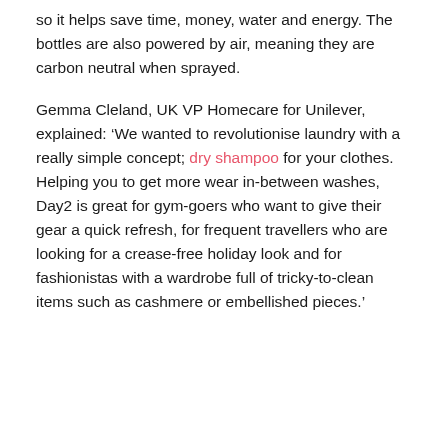so it helps save time, money, water and energy. The bottles are also powered by air, meaning they are carbon neutral when sprayed.
Gemma Cleland, UK VP Homecare for Unilever, explained: ‘We wanted to revolutionise laundry with a really simple concept; dry shampoo for your clothes. Helping you to get more wear in-between washes, Day2 is great for gym-goers who want to give their gear a quick refresh, for frequent travellers who are looking for a crease-free holiday look and for fashionistas with a wardrobe full of tricky-to-clean items such as cashmere or embellished pieces.’